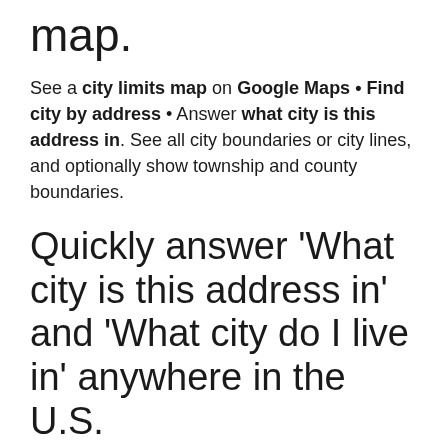map.
See a city limits map on Google Maps • Find city by address • Answer what city is this address in. See all city boundaries or city lines, and optionally show township and county boundaries.
Quickly answer 'What city is this address in' and 'What city do I live in' anywhere in the U.S.
To find city by address, type the address into the Search places box above the map